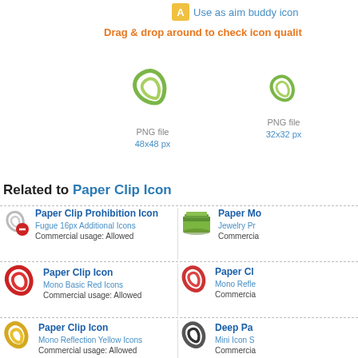Use as aim buddy icon
Drag & drop around to check icon quality
[Figure (illustration): Green paper clip icon 48x48 px PNG file]
[Figure (illustration): Green paper clip icon 32x32 px PNG file]
Related to Paper Clip Icon
Paper Clip Prohibition Icon | Fugue 16px Additional Icons | Commercial usage: Allowed
Paper Mo... | Jewelry Pr... | Commercial...
Paper Clip Icon | Mono Basic Red Icons | Commercial usage: Allowed
Paper Cl... | Mono Refle... | Commercial...
Paper Clip Icon | Mono Reflection Yellow Icons | Commercial usage: Allowed
Deep Pa... | Mini Icon S... | Commercial...